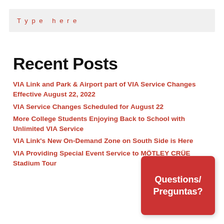Type here
Recent Posts
VIA Link and Park & Airport part of VIA Service Changes Effective August 22, 2022
VIA Service Changes Scheduled for August 22
More College Students Enjoying Back to School with Unlimited VIA Service
VIA Link's New On-Demand Zone on South Side is Here
VIA Providing Special Event Service to MÖTLEY CRÜE Stadium Tour
Questions/ Preguntas?